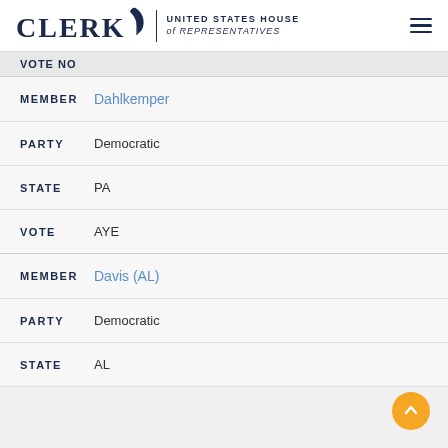CLERK United States House of Representatives
VOTE NO
MEMBER Dahlkemper
PARTY Democratic
STATE PA
VOTE AYE
MEMBER Davis (AL)
PARTY Democratic
STATE AL